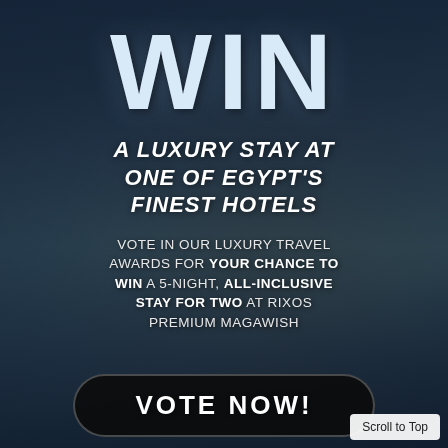[Figure (photo): Aerial view of a luxury resort hotel complex in Egypt, showing pools, beach, and sea in a dark bluish-brown toned photograph used as background]
WIN
A LUXURY STAY AT ONE OF EGYPT'S FINEST HOTELS
VOTE IN OUR LUXURY TRAVEL AWARDS FOR YOUR CHANCE TO WIN A 5-NIGHT, ALL-INCLUSIVE STAY FOR TWO AT RIXOS PREMIUM MAGAWISH
VOTE NOW!
Scroll to Top